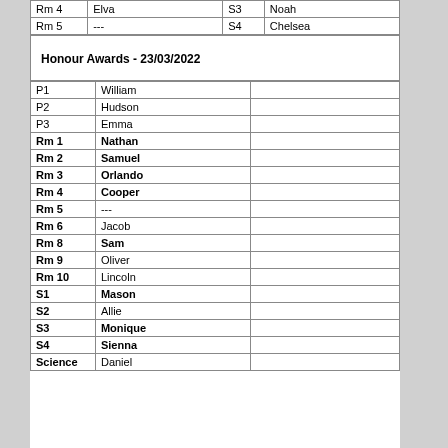| Room | Name |  |  |
| --- | --- | --- | --- |
| Rm 4 | Elva | S3 | Noah |
| Rm 5 | --- | S4 | Chelsea |
Honour Awards - 23/03/2022
| Room | Name |  |
| --- | --- | --- |
| P1 | William |  |
| P2 | Hudson |  |
| P3 | Emma |  |
| Rm 1 | Nathan |  |
| Rm 2 | Samuel |  |
| Rm 3 | Orlando |  |
| Rm 4 | Cooper |  |
| Rm 5 | --- |  |
| Rm 6 | Jacob |  |
| Rm 8 | Sam |  |
| Rm 9 | Oliver |  |
| Rm 10 | Lincoln |  |
| S1 | Mason |  |
| S2 | Allie |  |
| S3 | Monique |  |
| S4 | Sienna |  |
| Science | Daniel |  |